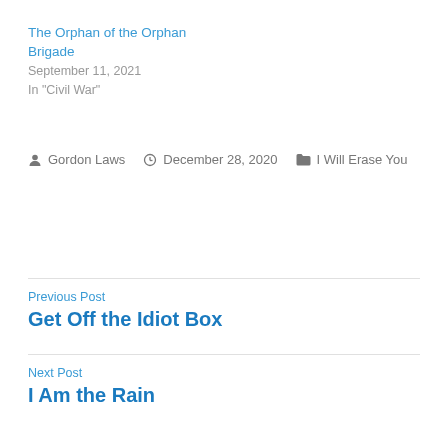The Orphan of the Orphan Brigade
September 11, 2021
In "Civil War"
Gordon Laws  December 28, 2020  I Will Erase You
Previous Post
Get Off the Idiot Box
Next Post
I Am the Rain